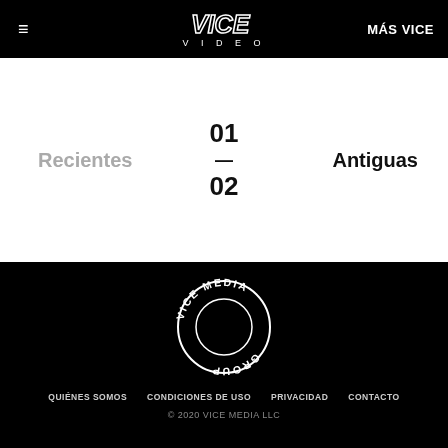≡  VICE VIDEO  MÁS VICE
Recientes
01 — 02
Antiguas
[Figure (logo): Vice Media Group circular logo in white on black background]
QUIÉNES SOMOS   CONDICIONES DE USO   PRIVACIDAD   CONTACTO
© 2020 VICE MEDIA LLC